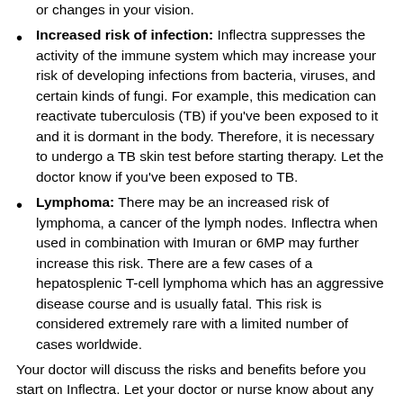Increased risk of infection: Inflectra suppresses the activity of the immune system which may increase your risk of developing infections from bacteria, viruses, and certain kinds of fungi. For example, this medication can reactivate tuberculosis (TB) if you've been exposed to it and it is dormant in the body. Therefore, it is necessary to undergo a TB skin test before starting therapy. Let the doctor know if you've been exposed to TB.
Lymphoma: There may be an increased risk of lymphoma, a cancer of the lymph nodes. Inflectra when used in combination with Imuran or 6MP may further increase this risk. There are a few cases of a hepatosplenic T-cell lymphoma which has an aggressive disease course and is usually fatal. This risk is considered extremely rare with a limited number of cases worldwide.
Your doctor will discuss the risks and benefits before you start on Inflectra. Let your doctor or nurse know about any new symptoms you develop while on Inflectra.